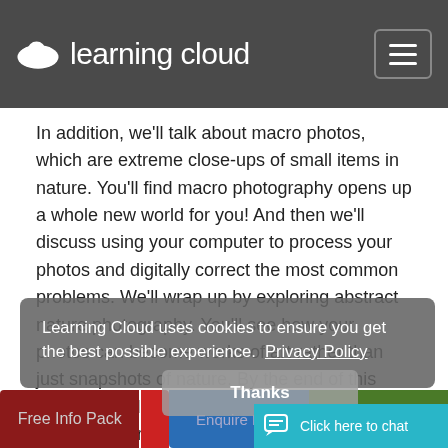Learning Cloud
In addition, we'll talk about macro photos, which are extreme close-ups of small items in nature. You'll find macro photography opens up a whole new world for you! And then we'll discuss using your computer to process your photos and digitally correct the most common problems. We'll wrap up by exploring abstract nature photography. You'll see how your photos can become works of art rather than just snapshots of nature. By the end of this course, you'll have become the nature photographer you always wanted to be!
Learning Cloud uses cookies to ensure you get the best possible experience.  Privacy Policy
Thanks
Free Info Pack
Enquire Now
Enrol Now
Click here to chat